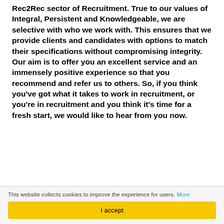Rec2Rec sector of Recruitment. True to our values of Integral, Persistent and Knowledgeable, we are selective with who we work with. This ensures that we provide clients and candidates with options to match their specifications without compromising integrity. Our aim is to offer you an excellent service and an immensely positive experience so that you recommend and refer us to others. So, if you think you've got what it takes to work in recruitment, or you're in recruitment and you think it's time for a fresh start, we would like to hear from you now.
This website collects cookies to improve the experience for users. More | I accept